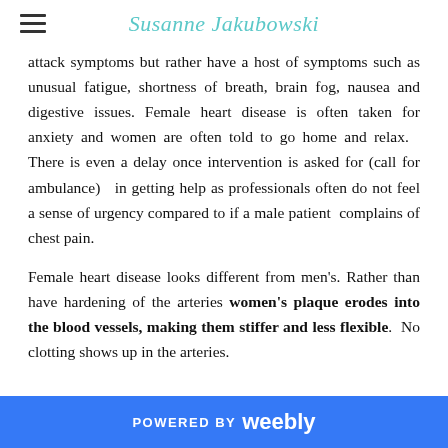Susanne Jakubowski
attack symptoms but rather have a host of symptoms such as unusual fatigue, shortness of breath, brain fog, nausea and digestive issues. Female heart disease is often taken for anxiety and women are often told to go home and relax. There is even a delay once intervention is asked for (call for ambulance) in getting help as professionals often do not feel a sense of urgency compared to if a male patient complains of chest pain.
Female heart disease looks different from men's. Rather than have hardening of the arteries women's plaque erodes into the blood vessels, making them stiffer and less flexible. No clotting shows up in the arteries.
POWERED BY weebly